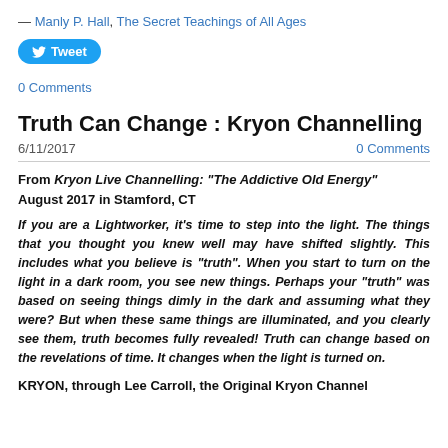— Manly P. Hall, The Secret Teachings of All Ages
[Figure (other): Twitter Tweet button]
0 Comments
Truth Can Change : Kryon Channelling
6/11/2017    0 Comments
From Kryon Live Channelling: "The Addictive Old Energy" August 2017 in Stamford, CT
If you are a Lightworker, it's time to step into the light. The things that you thought you knew well may have shifted slightly. This includes what you believe is "truth". When you start to turn on the light in a dark room, you see new things. Perhaps your "truth" was based on seeing things dimly in the dark and assuming what they were? But when these same things are illuminated, and you clearly see them, truth becomes fully revealed! Truth can change based on the revelations of time. It changes when the light is turned on.
KRYON, through Lee Carroll, the Original Kryon Channel